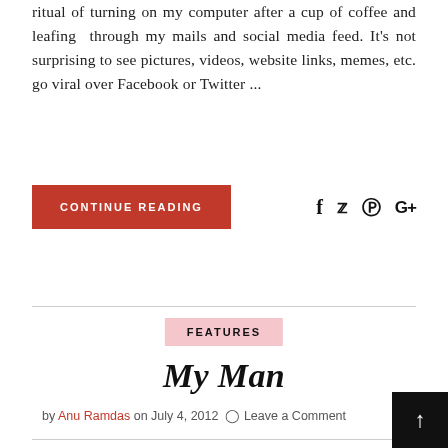ritual of turning on my computer after a cup of coffee and leafing  through my mails and social media feed. It's not surprising to see pictures, videos, website links, memes, etc. go viral over Facebook or Twitter ...
CONTINUE READING
[Figure (other): Social media share icons: Facebook (f), Twitter (bird), Pinterest (P), Google+ (G+)]
FEATURES
My Man
by Anu Ramdas on July 4, 2012  Leave a Comment